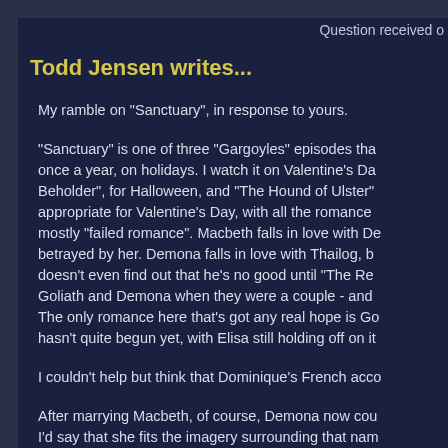Question received o
Todd Jensen writes...
My ramble on "Sanctuary", in response to yours.
"Sanctuary" is one of three "Gargoyles" episodes tha once a year, on holidays. I watch it on Valentine's Da Beholder", for Halloween, and "The Hound of Ulster" appropriate for Valentine's Day, with all the romance mostly "failed romance". Macbeth falls in love with De betrayed by her. Demona falls in love with Thailog, b doesn't even find out that he's no good until "The Re Goliath and Demona when they were a couple - and The only romance here that's got any real hope is Go hasn't quite begun yet, with Elisa still holding off on it
I couldn't help but think that Dominique's French acco
After marrying Macbeth, of course, Demona now cou I'd say that she fits the imagery surrounding that nam
One of the moments that I find especially touching in